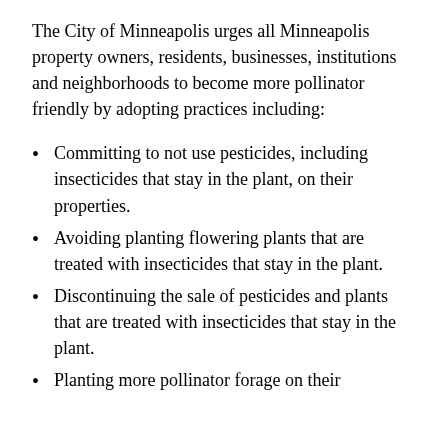The City of Minneapolis urges all Minneapolis property owners, residents, businesses, institutions and neighborhoods to become more pollinator friendly by adopting practices including:
Committing to not use pesticides, including insecticides that stay in the plant, on their properties.
Avoiding planting flowering plants that are treated with insecticides that stay in the plant.
Discontinuing the sale of pesticides and plants that are treated with insecticides that stay in the plant.
Planting more pollinator forage on their